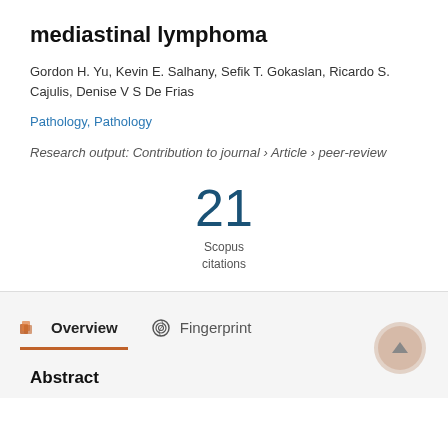mediastinal lymphoma
Gordon H. Yu, Kevin E. Salhany, Sefik T. Gokaslan, Ricardo S. Cajulis, Denise V S De Frias
Pathology, Pathology
Research output: Contribution to journal › Article › peer-review
21 Scopus citations
Overview
Fingerprint
Abstract